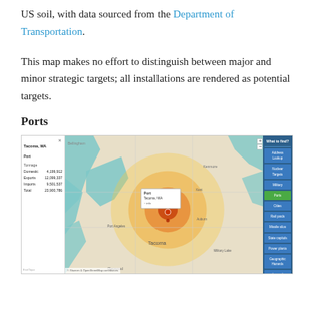US soil, with data sourced from the Department of Transportation.
This map makes no effort to distinguish between major and minor strategic targets; all installations are rendered as potential targets.
Ports
[Figure (map): Interactive map showing Tacoma, WA port with nuclear blast radius overlays in concentric orange/yellow circles. Left sidebar shows port data: Domestic 4,199,912, Exports 12,099,337, Imports 9,501,537, Total 23,900,786. Right sidebar shows menu options: Address Lookup, Nuclear Targets, Military, Ports (highlighted green), Cities, Rail yards, Missile silos, State capitols, Power plants, Geographic Hazards, Legend.]